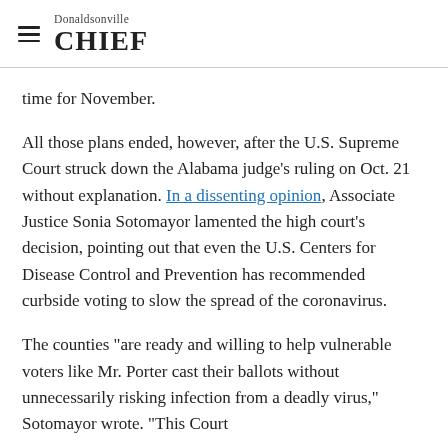Donaldsonville CHIEF
time for November.
All those plans ended, however, after the U.S. Supreme Court struck down the Alabama judge's ruling on Oct. 21 without explanation. In a dissenting opinion, Associate Justice Sonia Sotomayor lamented the high court's decision, pointing out that even the U.S. Centers for Disease Control and Prevention has recommended curbside voting to slow the spread of the coronavirus.
The counties "are ready and willing to help vulnerable voters like Mr. Porter cast their ballots without unnecessarily risking infection from a deadly virus," Sotomayor wrote. "This Court